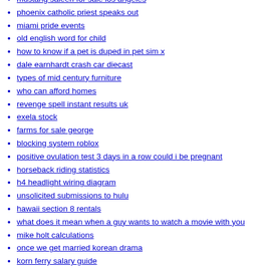mustang saleen for sale los angeles
phoenix catholic priest speaks out
miami pride events
old english word for child
how to know if a pet is duped in pet sim x
dale earnhardt crash car diecast
types of mid century furniture
who can afford homes
revenge spell instant results uk
exela stock
farms for sale george
blocking system roblox
positive ovulation test 3 days in a row could i be pregnant
horseback riding statistics
h4 headlight wiring diagram
unsolicited submissions to hulu
hawaii section 8 rentals
what does it mean when a guy wants to watch a movie with you
mike holt calculations
once we get married korean drama
korn ferry salary guide
boudoir packages
mini sheepadoodle california
17 bedroom cabin in gatlinburg
3d print blobs and zits